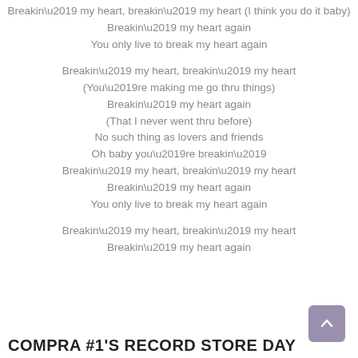Breakin’ my heart, breakin’ my heart (I think you do it baby)
Breakin’ my heart again
You only live to break my heart again
Breakin’ my heart, breakin’ my heart
(You’re making me go thru things)
Breakin’ my heart again
(That I never went thru before)
No such thing as lovers and friends
Oh baby you’re breakin’
Breakin’ my heart, breakin’ my heart
Breakin’ my heart again
You only live to break my heart again
Breakin’ my heart, breakin’ my heart
Breakin’ my heart again
COMPRA #1’S RECORD STORE DAY